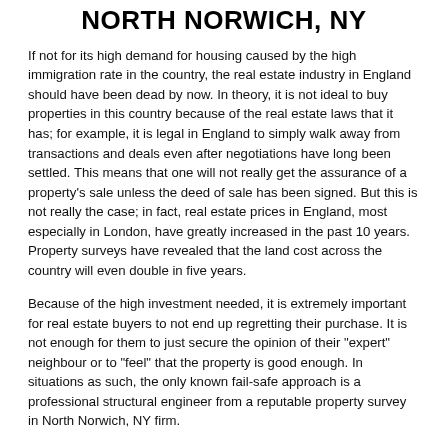NORTH NORWICH, NY
If not for its high demand for housing caused by the high immigration rate in the country, the real estate industry in England should have been dead by now. In theory, it is not ideal to buy properties in this country because of the real estate laws that it has; for example, it is legal in England to simply walk away from transactions and deals even after negotiations have long been settled. This means that one will not really get the assurance of a property's sale unless the deed of sale has been signed. But this is not really the case; in fact, real estate prices in England, most especially in London, have greatly increased in the past 10 years. Property surveys have revealed that the land cost across the country will even double in five years.
Because of the high investment needed, it is extremely important for real estate buyers to not end up regretting their purchase. It is not enough for them to just secure the opinion of their "expert" neighbour or to "feel" that the property is good enough. In situations as such, the only known fail-safe approach is a professional structural engineer from a reputable property survey in North Norwich, NY firm.
Problems associated to land and building purchases often arise